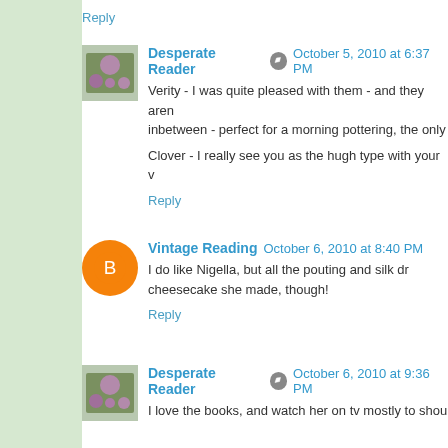Reply
Desperate Reader • October 5, 2010 at 6:37 PM
Verity - I was quite pleased with them - and they aren't inbetween - perfect for a morning pottering, the only
Clover - I really see you as the hugh type with your v
Reply
Vintage Reading  October 6, 2010 at 8:40 PM
I do like Nigella, but all the pouting and silk dr cheesecake she made, though!
Reply
Desperate Reader • October 6, 2010 at 9:36 PM
I love the books, and watch her on tv mostly to shou